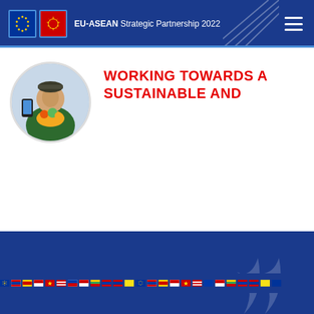EU-ASEAN Strategic Partnership 2022
[Figure (photo): Circular photo of a person in a green jacket holding grocery/vegetable produce, with a smartphone visible on the left side]
WORKING TOWARDS A SUSTAINABLE AND
[Figure (illustration): Blue footer area with a row of small flag icons representing ASEAN and EU member country flags, and a scroll-to-top button on the right]